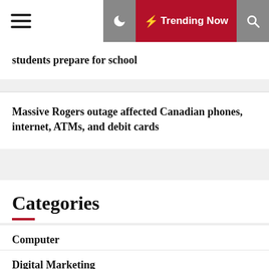Trending Now
students prepare for school
Massive Rogers outage affected Canadian phones, internet, ATMs, and debit cards
Categories
Computer
Digital Marketing
Gadget
Internet Network